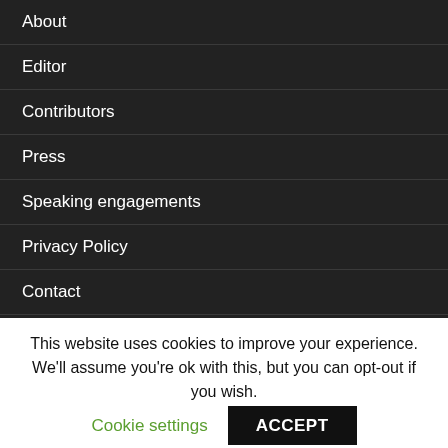About
Editor
Contributors
Press
Speaking engagements
Privacy Policy
Contact
Solvency II Wire Data
This website uses cookies to improve your experience. We'll assume you're ok with this, but you can opt-out if you wish.
Cookie settings
ACCEPT